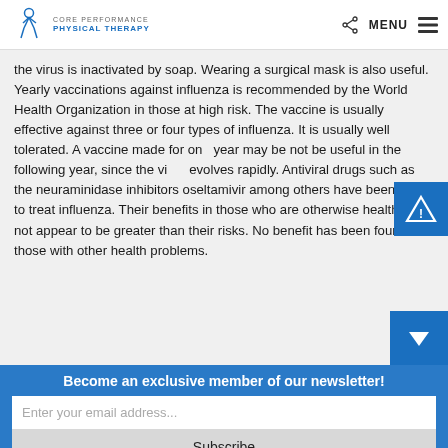Core Performance Physical Therapy | MENU
the virus is inactivated by soap. Wearing a surgical mask is also useful. Yearly vaccinations against influenza is recommended by the World Health Organization in those at high risk. The vaccine is usually effective against three or four types of influenza. It is usually well tolerated. A vaccine made for one year may be not be useful in the following year, since the virus evolves rapidly. Antiviral drugs such as the neuraminidase inhibitors oseltamivir among others have been used to treat influenza. Their benefits in those who are otherwise healthy do not appear to be greater than their risks. No benefit has been found in those with other health problems.
Become an exclusive member of our newsletter!
Enter your email address...
Subscribe